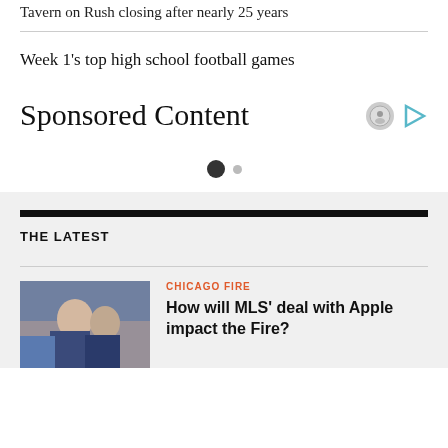Tavern on Rush closing after nearly 25 years
Week 1's top high school football games
Sponsored Content
THE LATEST
CHICAGO FIRE
How will MLS' deal with Apple impact the Fire?